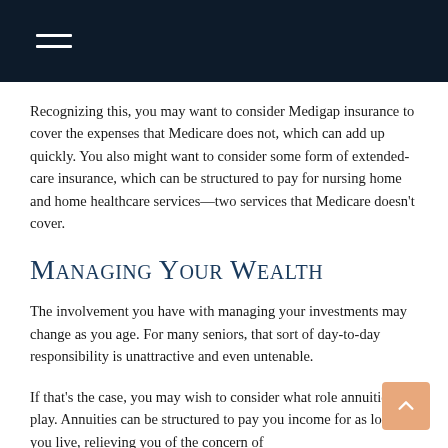Recognizing this, you may want to consider Medigap insurance to cover the expenses that Medicare does not, which can add up quickly. You also might want to consider some form of extended-care insurance, which can be structured to pay for nursing home and home healthcare services—two services that Medicare doesn't cover.
Managing Your Wealth
The involvement you have with managing your investments may change as you age. For many seniors, that sort of day-to-day responsibility is unattractive and even untenable.
If that's the case, you may wish to consider what role annuities can play. Annuities can be structured to pay you income for as long as you live, relieving you of the concern of